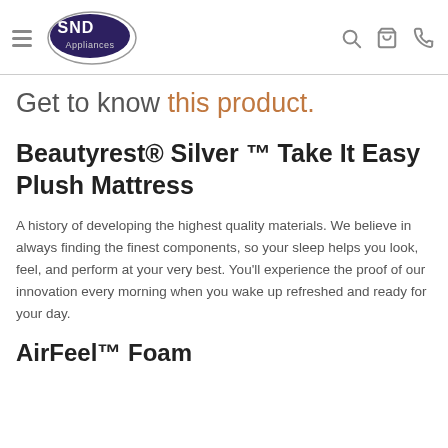SND Appliances
Get to know this product.
Beautyrest® Silver ™ Take It Easy Plush Mattress
A history of developing the highest quality materials. We believe in always finding the finest components, so your sleep helps you look, feel, and perform at your very best. You'll experience the proof of our innovation every morning when you wake up refreshed and ready for your day.
AirFeel™ Foam